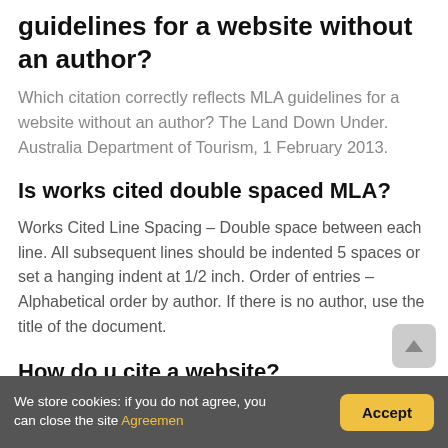guidelines for a website without an author?
Which citation correctly reflects MLA guidelines for a website without an author? The Land Down Under. Australia Department of Tourism, 1 February 2013.
Is works cited double spaced MLA?
Works Cited Line Spacing – Double space between each line. All subsequent lines should be indented 5 spaces or set a hanging indent at 1/2 inch. Order of entries – Alphabetical order by author. If there is no author, use the title of the document.
How do u cite a website?
Cite web postings as you would a standard web entry. Provide the author of the work, the title of the posting in
We store cookies: if you do not agree, you can close the site Agreemen